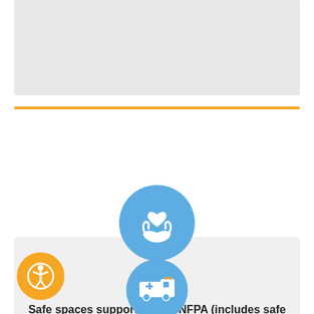[Figure (infographic): Gray placeholder section at top of page]
[Figure (infographic): Blue circle icon with hands holding a heart, representing safe spaces supported by UNFPA]
–
Safe spaces supported by UNFPA (includes safe spaces for women, girls and youth)
[Figure (infographic): Orange circle with accessibility (person) icon, bottom left]
[Figure (infographic): Blue circle with ambulance/medical vehicle icon, partially visible at bottom center]